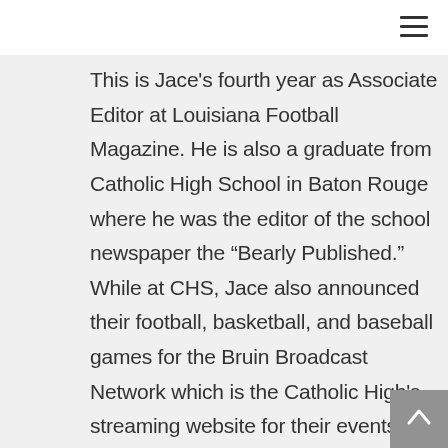[Figure (screenshot): Hamburger menu icon (three horizontal lines) in the top-right corner of a webpage]
This is Jace's fourth year as Associate Editor at Louisiana Football Magazine. He is also a graduate from Catholic High School in Baton Rouge where he was the editor of the school newspaper the “Bearly Published.” While at CHS, Jace also announced their football, basketball, and baseball games for the Bruin Broadcast Network which is the Catholic High's streaming website for their events. On weekends, Jace is the PA...